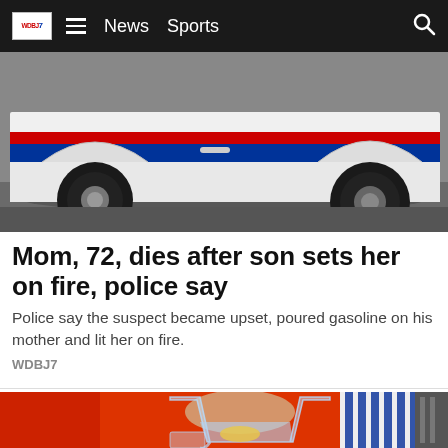WDBJ7  ≡  News  Sports  🔍
[Figure (photo): Photo of a police car wheel and lower body on asphalt pavement, with red, white and blue markings visible on the vehicle door.]
Mom, 72, dies after son sets her on fire, police say
Police say the suspect became upset, poured gasoline on his mother and lit her on fire.
WDBJ7
[Figure (photo): A person in a red jacket with striped shirt sleeve pours water with lemon from a glass pitcher into a glass, on a red background.]